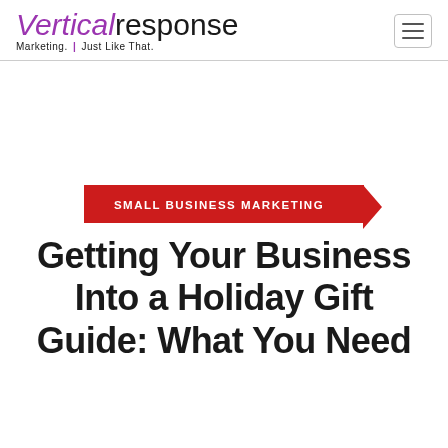VerticalResponse — Marketing. Just Like That.
SMALL BUSINESS MARKETING
Getting Your Business Into a Holiday Gift Guide: What You Need to Know